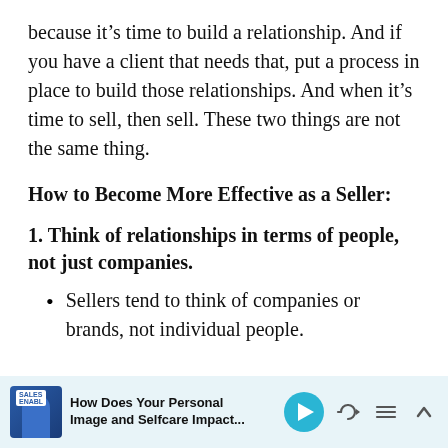because it’s time to build a relationship. And if you have a client that needs that, put a process in place to build those relationships. And when it’s time to sell, then sell. These two things are not the same thing.
How to Become More Effective as a Seller:
1. Think of relationships in terms of people, not just companies.
Sellers tend to think of companies or brands, not individual people.
How Does Your Personal Image and Selfcare Impact...